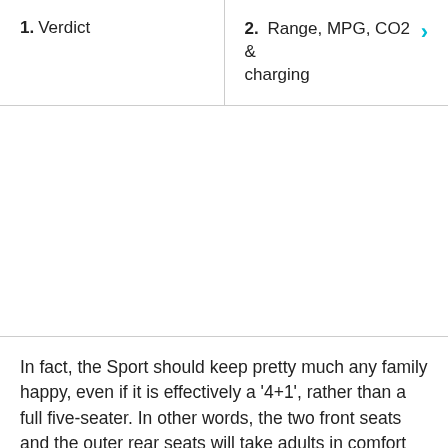1. Verdict
2. Range, MPG, CO2 & charging
[Figure (photo): Empty white image area, likely a car photo placeholder]
In fact, the Sport should keep pretty much any family happy, even if it is effectively a '4+1', rather than a full five-seater. In other words, the two front seats and the outer rear seats will take adults in comfort without any problem, but the centre seat in the back is a little